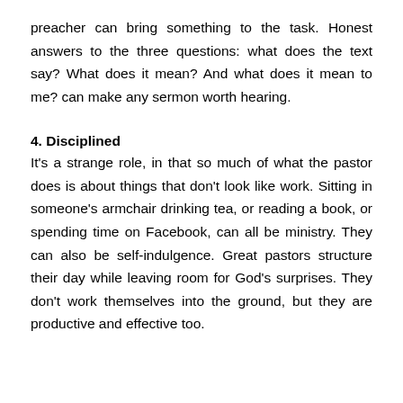preacher can bring something to the task. Honest answers to the three questions: what does the text say? What does it mean? And what does it mean to me? can make any sermon worth hearing.
4. Disciplined
It's a strange role, in that so much of what the pastor does is about things that don't look like work. Sitting in someone's armchair drinking tea, or reading a book, or spending time on Facebook, can all be ministry. They can also be self-indulgence. Great pastors structure their day while leaving room for God's surprises. They don't work themselves into the ground, but they are productive and effective too.